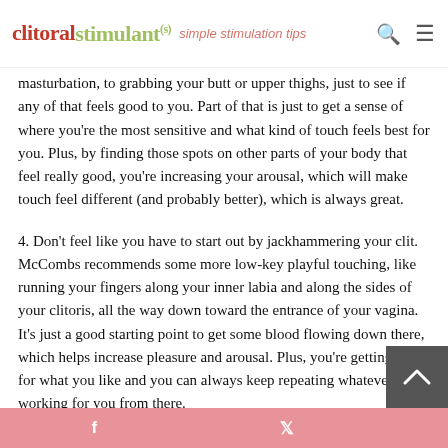clitoralstimulant(s) — simple stimulation tips
masturbation, to grabbing your butt or upper thighs, just to see if any of that feels good to you. Part of that is just to get a sense of where you're the most sensitive and what kind of touch feels best for you. Plus, by finding those spots on other parts of your body that feel really good, you're increasing your arousal, which will make touch feel different (and probably better), which is always great.
4. Don't feel like you have to start out by jackhammering your clit. McCombs recommends some more low-key playful touching, like running your fingers along your inner labia and along the sides of your clitoris, all the way down toward the entrance of your vagina. It's just a good starting point to get some blood flowing down there, which helps increase pleasure and arousal. Plus, you're getting a feel for what you like and you can always keep repeating whatever is working for you from there.
f   t   ^